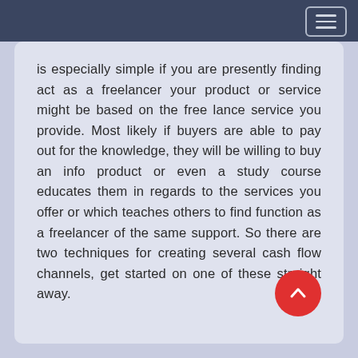is especially simple if you are presently finding act as a freelancer your product or service might be based on the free lance service you provide. Most likely if buyers are able to pay out for the knowledge, they will be willing to buy an info product or even a study course educates them in regards to the services you offer or which teaches others to find function as a freelancer of the same support. So there are two techniques for creating several cash flow channels, get started on one of these straight away.